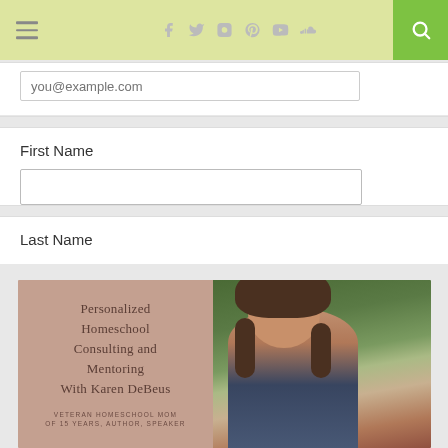Navigation header with hamburger menu, social icons (Facebook, Twitter, Instagram, Pinterest, YouTube, SoundCloud), and search button
you@example.com
First Name
Last Name
[Figure (photo): Promotional banner for Personalized Homeschool Consulting and Mentoring with Karen DeBeus. Left side has mauve/rose background with text. Right side shows a woman with brown hair wearing a floral shirt outdoors with trees in background. Bottom text: Veteran Homeschool Mom of 15 years, Author, Speaker]